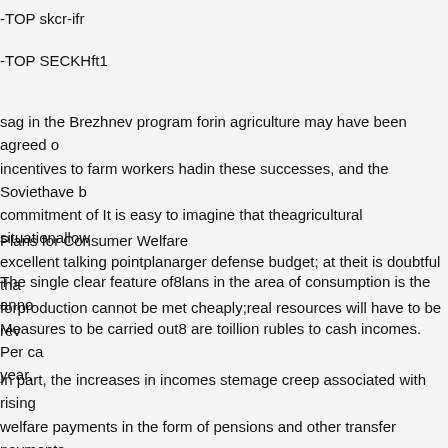-TOP skcr-ifr
-TOP SECKHft1
sag in the Brezhnev program forin agriculture may have been agreed o incentives to farm workers hadin these successes, and the Soviethave commitment of It is easy to imagine that theagricultural situationallow excellent talking pointplanarger defense budget; at theit is doubtful tha forproduction cannot be met cheaply;real resources will have to be re
Plans for Consumer Welfare
The single clear feature of8lans in the area of consumption is the anno Measures to be carried out8 are toillion rubles to cash incomes. Per ca year.
In part, the increases in incomes stemage creep associated with rising welfare payments in the form of pensions and other transfer payments